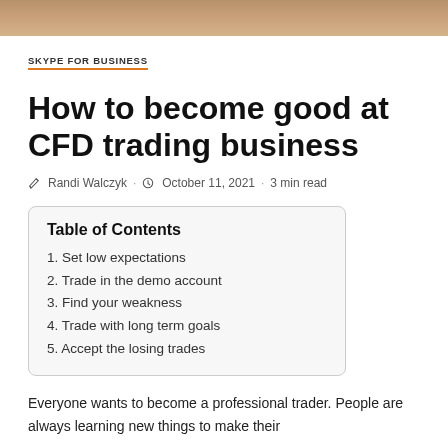[Figure (photo): Partial image strip at top of page showing a blurred background scene]
SKYPE FOR BUSINESS
How to become good at CFD trading business
Randi Walczyk · October 11, 2021 · 3 min read
| Table of Contents |
| --- |
| 1. Set low expectations |
| 2. Trade in the demo account |
| 3. Find your weakness |
| 4. Trade with long term goals |
| 5. Accept the losing trades |
Everyone wants to become a professional trader. People are always learning new things to make their